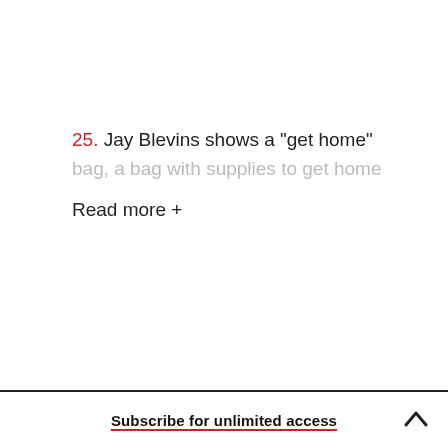25. Jay Blevins shows a "get home" bag, a bag with supplies to get home
Read more +
Subscribe for unlimited access